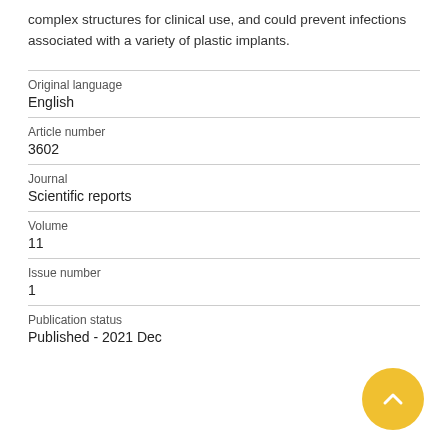complex structures for clinical use, and could prevent infections associated with a variety of plastic implants.
| Original language | English |
| Article number | 3602 |
| Journal | Scientific reports |
| Volume | 11 |
| Issue number | 1 |
| Publication status | Published - 2021 Dec |